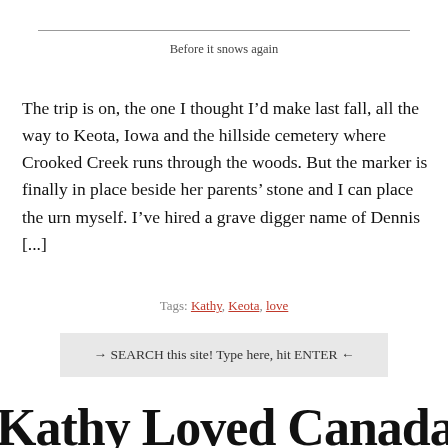Before it snows again
The trip is on, the one I thought I’d make last fall, all the way to Keota, Iowa and the hillside cemetery where Crooked Creek runs through the woods. But the marker is finally in place beside her parents’ stone and I can place the urn myself. I’ve hired a grave digger name of Dennis [...]
Tags: Kathy, Keota, love
→ SEARCH this site! Type here, hit ENTER ←
Kathy Loved Canada